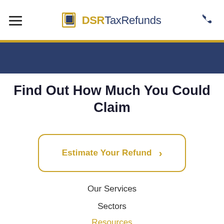DSR TaxRefunds — navigation header with hamburger menu and phone icon
Find Out How Much You Could Claim
Estimate Your Refund ›
Our Services
Sectors
Resources